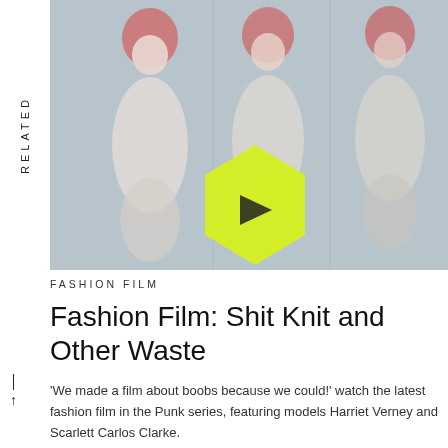RELATED
[Figure (screenshot): Video thumbnail showing three blurred mannequin-like figures with pink/red hair on a light grey-blue background. A yellow-green hexagonal play button overlay is visible on the left figure.]
FASHION FILM
Fashion Film: Shit Knit and Other Waste
'We made a film about boobs because we could!' watch the latest fashion film in the Punk series, featuring models Harriet Verney and Scarlett Carlos Clarke.